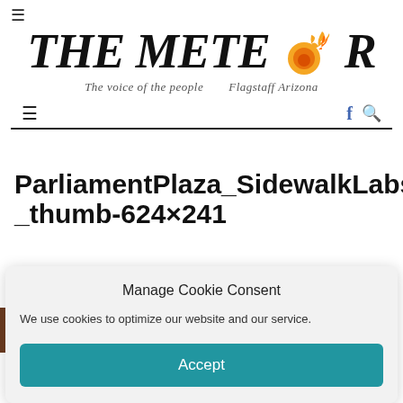THE METEOR — The voice of the people   Flagstaff Arizona
ParliamentPlaza_SidewalkLabs_thumb-624×241
MAC ENGLAND   MAY 13, 2020   LEAVE A COMMENT
[Figure (photo): Partial view of a photo strip (brown/warm tones, appears to be a building or street scene)]
Manage Cookie Consent
We use cookies to optimize our website and our service.
Accept